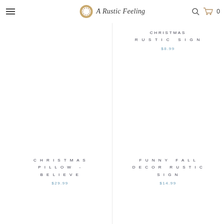A Rustic Feeling
CHRISTMAS RUSTIC SIGN
$8.99
CHRISTMAS PILLOW - BELIEVE
$29.99
FUNNY FALL DECOR RUSTIC SIGN
$14.99